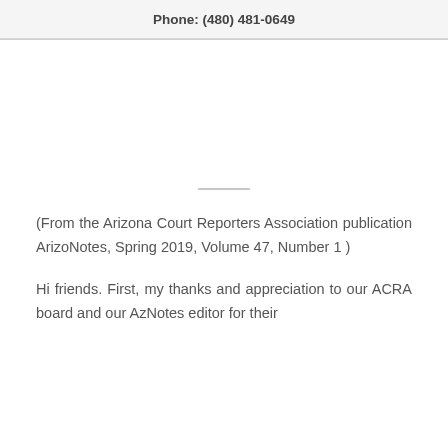Phone: (480) 481-0649
(From the Arizona Court Reporters Association publication ArizoNotes, Spring 2019, Volume 47, Number 1 )
Hi friends. First, my thanks and appreciation to our ACRA board and our AzNotes editor for their